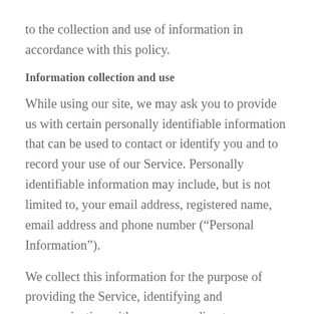to the collection and use of information in accordance with this policy.
Information collection and use
While using our site, we may ask you to provide us with certain personally identifiable information that can be used to contact or identify you and to record your use of our Service. Personally identifiable information may include, but is not limited to, your email address, registered name, email address and phone number (“Personal Information”).
We collect this information for the purpose of providing the Service, identifying and communicating with you, responding to your requests/inquiries and improving our services.